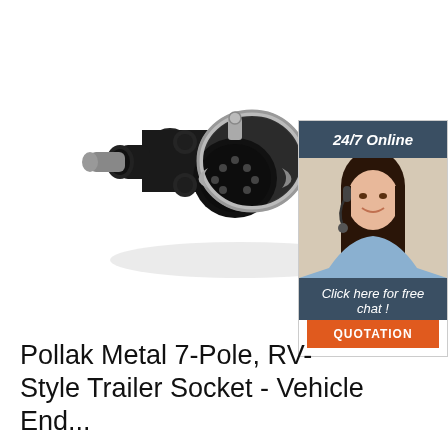[Figure (photo): Black metal 7-pole RV-style trailer socket connector with chrome locking ring, viewed at an angle]
[Figure (infographic): 24/7 Online chat widget with a woman wearing a headset, dark blue header saying '24/7 Online', text 'Click here for free chat!' and an orange QUOTATION button]
Pollak Metal 7-Pole, RV-Style Trailer Socket - Vehicle End...